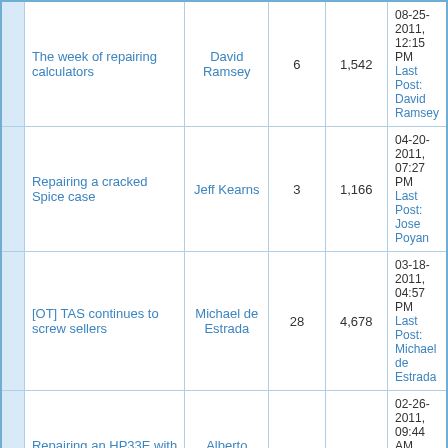|  | Thread | Author | Replies | Views | Last Post |
| --- | --- | --- | --- | --- | --- |
|  | The week of repairing calculators | David Ramsey | 6 | 1,542 | 08-25-2011, 12:15 PM
Last Post: David Ramsey |
|  | Repairing a cracked Spice case | Jeff Kearns | 3 | 1,166 | 04-20-2011, 07:27 PM
Last Post: Jose Poyan |
|  | [OT] TAS continues to screw sellers | Michael de Estrada | 28 | 4,678 | 03-18-2011, 04:57 PM
Last Post: Michael de Estrada |
|  | Repairing an HP33E with springs | Alberto Fenini | 0 | 725 | 02-26-2011, 09:44 AM
Last Post: Alberto Fenini |
View a Printable Version
Forum Jump: -- Old HP Forum Archives  Go
Default  Go
| HP Museum Forum Archive | Return to Top | Lite (Archive) Mode | Mark All Forums Read | RSS Syndication
Powered By MyBB, © 2002-2022 MyBB Group